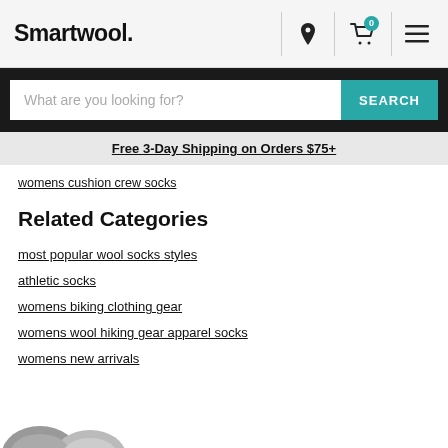Smartwool.
What are you looking for?  SEARCH
Free 3-Day Shipping on Orders $75+
womens cushion crew socks
Related Categories
most popular wool socks styles
athletic socks
womens biking clothing gear
womens wool hiking gear apparel socks
womens new arrivals
[Figure (photo): Partial view of wool socks at bottom of page]